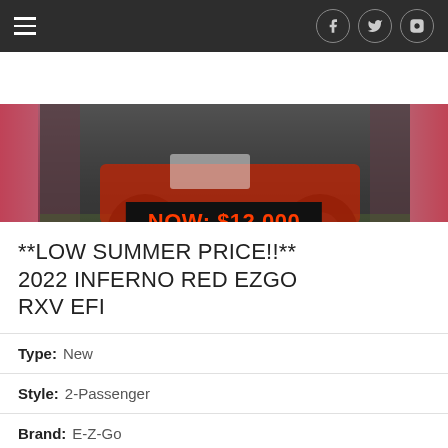[Figure (photo): Website navigation bar with hamburger menu icon on left and social media icons (Facebook, Twitter, Instagram) on right, on dark background]
[Figure (photo): Photo of a red EZGO RXV EFI golf cart with black wheels on grass, with a price banner overlay reading NOW: $12,000 in orange text on black background. PIC-COLLAGE watermark visible.]
**LOW SUMMER PRICE!!** 2022 INFERNO RED EZGO RXV EFI
Type: New
Style: 2-Passenger
Brand: E-Z-Go
Location: South Houston
Year: 2022
Price: $12,000